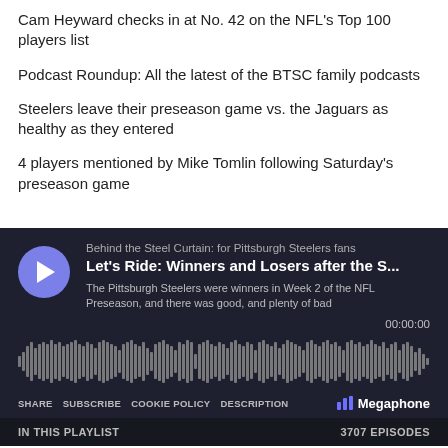Cam Heyward checks in at No. 42 on the NFL's Top 100 players list
Podcast Roundup: All the latest of the BTSC family podcasts
Steelers leave their preseason game vs. the Jaguars as healthy as they entered
4 players mentioned by Mike Tomlin following Saturday's preseason game
[Figure (other): Podcast player widget for 'Behind the Steel Curtain: for Pittsburgh Steelers fans' showing episode 'Let's Ride: Winners and Losers after the S...' with waveform visualization, SHARE SUBSCRIBE COOKIE POLICY DESCRIPTION controls, Megaphone branding, and IN THIS PLAYLIST / 3707 EPISODES footer]